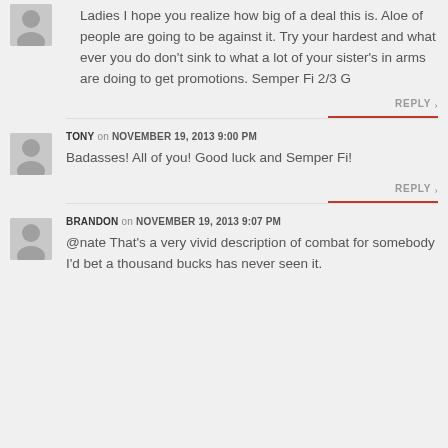Ladies I hope you realize how big of a deal this is. Aloe of people are going to be against it. Try your hardest and what ever you do don't sink to what a lot of your sister's in arms are doing to get promotions. Semper Fi 2/3 G
REPLY
TONY on NOVEMBER 19, 2013 9:00 PM
Badasses! All of you! Good luck and Semper Fi!
REPLY
BRANDON on NOVEMBER 19, 2013 9:07 PM
@nate That's a very vivid description of combat for somebody I'd bet a thousand bucks has never seen it.